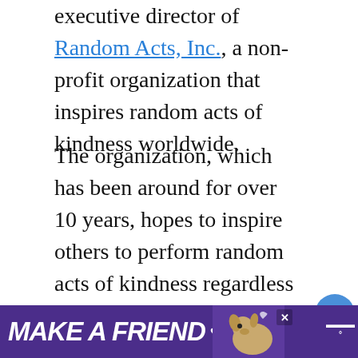executive director of Random Acts, Inc., a non-profit organization that inspires random acts of kindness worldwide.
The organization, which has been around for over 10 years, hopes to inspire others to perform random acts of kindness regardless of the size. Miner said, “This area has always been deeply important to me, trying to figure out how to do as much good in the world.”
[Figure (other): Floating UI buttons: heart/like button (blue circle), count badge showing 1, and share button]
[Figure (other): What's Next panel with thumbnail photo of a woman and text: WHAT'S NEXT -> Whatever Happened T...]
[Figure (other): Advertisement banner with purple background showing text MAKE A FRIEND with a dog image]